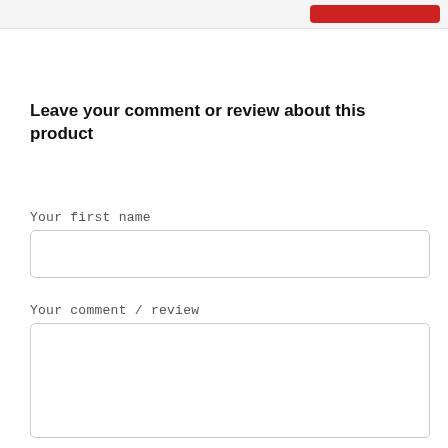[Figure (screenshot): Top bar with gray background and a red button on the right side]
Leave your comment or review about this product
Your first name
[Figure (other): Empty text input field for first name]
Your comment / review
[Figure (other): Empty textarea for comment or review]